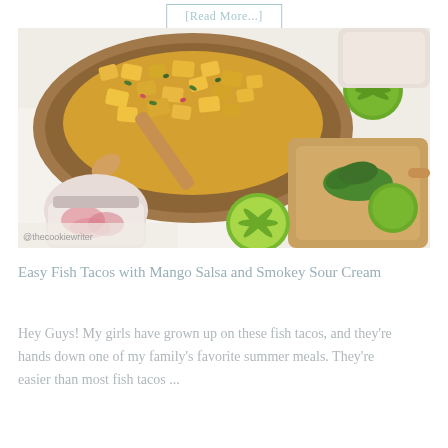[Read More...]
[Figure (photo): Overhead view of a wooden bowl filled with mango salsa, surrounded by limes, a jar of pickled red onions, a wooden cutting board with cilantro, and other taco ingredients on a white surface.]
Easy Fish Tacos with Mango Salsa and Smokey Sour Cream
Hey Guys! My girls have grown up on these fish tacos, and they're hands down one of my family's favorite summer meals. They're easier than most fish tacos ...